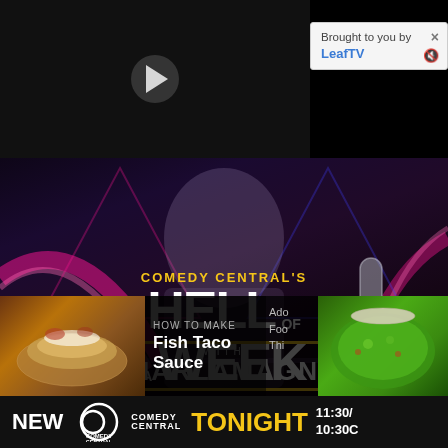[Figure (screenshot): Video player with dark background and play button]
Brought to you by
LeafTV
[Figure (photo): Comedy Central's Hell of a Week with Charlamagne: TV show promotional image showing host at desk with neon background]
[Figure (photo): Fish taco with white sauce thumbnail]
How to Make
Fish Taco
Sauce
[Figure (photo): Green herb sauce in bowl thumbnail]
Ado
Foo
Thi
NEW  COMEDY CENTRAL  TONIGHT  11:30/10:30C